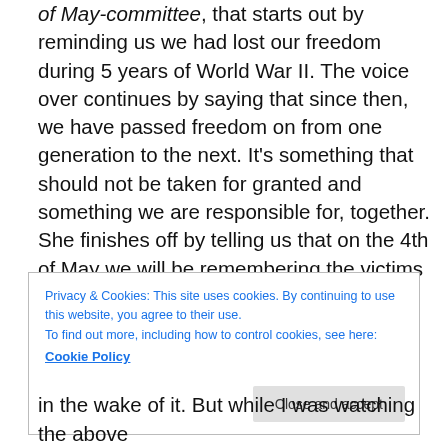of May-committee, that starts out by reminding us we had lost our freedom during 5 years of World War II. The voice over continues by saying that since then, we have passed freedom on from one generation to the next. It's something that should not be taken for granted and something we are responsible for, together. She finishes off by telling us that on the 4th of May we will be remembering the victims and that on the 5th we will celebrating our freedom. Her final question is: “How will you pass our freedom on?”.
Privacy & Cookies: This site uses cookies. By continuing to use this website, you agree to their use.
To find out more, including how to control cookies, see here:
Cookie Policy
in the wake of it. But while I was watching the above